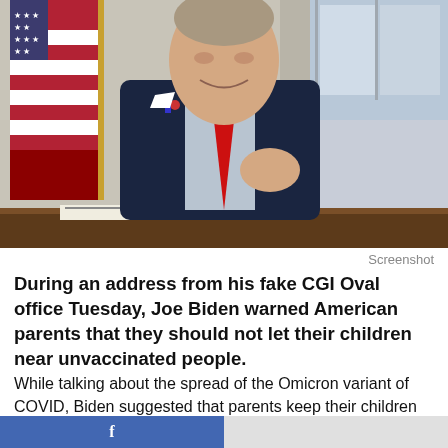[Figure (photo): Man in dark suit with red tie seated at a desk in front of an American flag, smiling and gesturing with his hand. A window and decorative items are visible in the background.]
Screenshot
During an address from his fake CGI Oval office Tuesday, Joe Biden warned American parents that they should not let their children near unvaccinated people.
While talking about the spread of the Omicron variant of COVID, Biden suggested that parents keep their children away from the dirty unvaxxed.